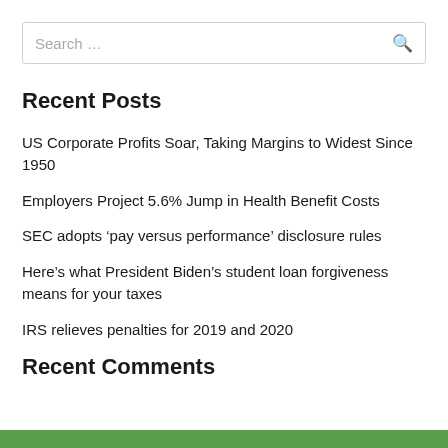Search …
Recent Posts
US Corporate Profits Soar, Taking Margins to Widest Since 1950
Employers Project 5.6% Jump in Health Benefit Costs
SEC adopts ‘pay versus performance’ disclosure rules
Here’s what President Biden’s student loan forgiveness means for your taxes
IRS relieves penalties for 2019 and 2020
Recent Comments